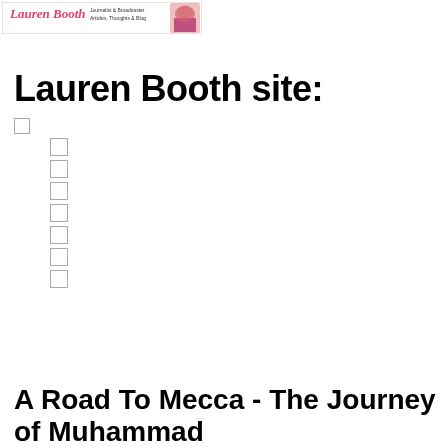[Figure (logo): Lauren Booth website banner/logo with pink cursive text 'Lauren Booth' and subtitle 'Journalist & Broadcaster Articles, Thoughts & Blog' with a photo of a woman in hijab]
Lauren Booth site:
A Road To Mecca - The Journey of Muhammad